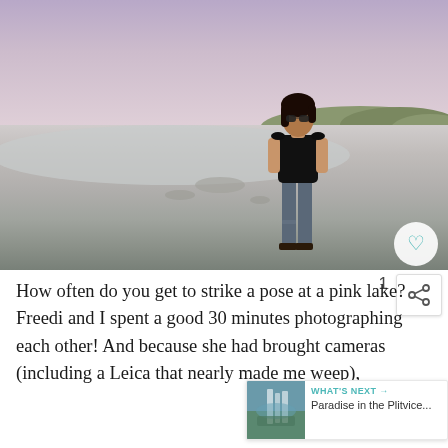[Figure (photo): A woman wearing sunglasses, a black top, and ripped jeans stands on a dry salt flat at a pink lake. The sky is a soft pink-purple dusk color. There are sandy dunes with sparse vegetation in the background. A heart/like button appears in the lower right of the image.]
How often do you get to strike a pose at a pink lake? Freedi and I spent a good 30 minutes photographing each other! And because she had brought cameras (including a Leica that nearly made me weep),